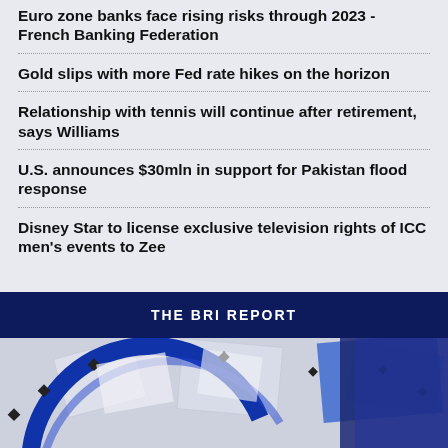Euro zone banks face rising risks through 2023 - French Banking Federation
Gold slips with more Fed rate hikes on the horizon
Relationship with tennis will continue after retirement, says Williams
U.S. announces $30mln in support for Pakistan flood response
Disney Star to license exclusive television rights of ICC men's events to Zee
THE BRI REPORT
[Figure (photo): Abstract 3D render with blue circular arc and geometric shapes on light background, representing The BRI Report branding]